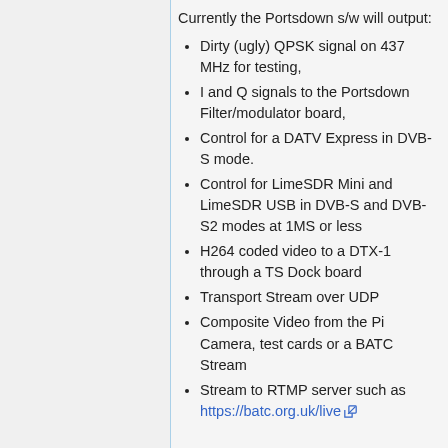Currently the Portsdown s/w will output:
Dirty (ugly) QPSK signal on 437 MHz for testing,
I and Q signals to the Portsdown Filter/modulator board,
Control for a DATV Express in DVB-S mode.
Control for LimeSDR Mini and LimeSDR USB in DVB-S and DVB-S2 modes at 1MS or less
H264 coded video to a DTX-1 through a TS Dock board
Transport Stream over UDP
Composite Video from the Pi Camera, test cards or a BATC Stream
Stream to RTMP server such as https://batc.org.uk/live